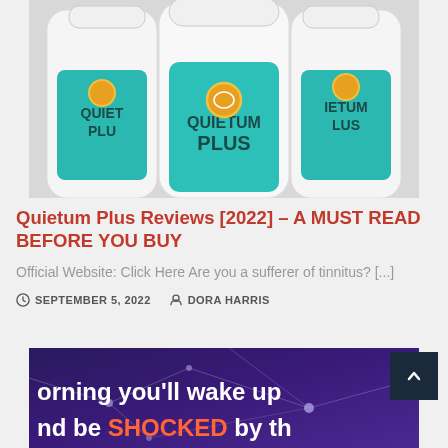[Figure (photo): Three white supplement bottles with teal/turquoise labels reading QUIETUM PLUS with a brain icon and gold circle emblem, arranged in a row against a light background.]
Quietum Plus Reviews [2022] – A MUST READ BEFORE YOU BUY
Official Website: Click Here Are you a sufferer of tinnitus? [...]
SEPTEMBER 5, 2022   DORA HARRIS
[Figure (screenshot): Dark purple/blue background with neural network lines and nodes. White text reads 'morning you'll wake up' and 'nd be SHOCKED by th' (text cropped at edges).]